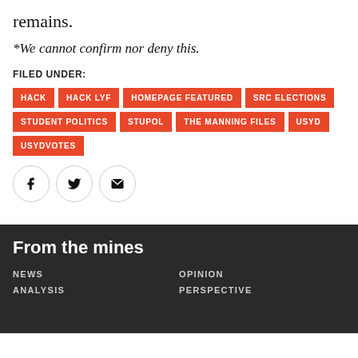remains.
*We cannot confirm nor deny this.
FILED UNDER:
HACK
HACK LYF
HOMEPAGE FEATURED
SRC ELECTIONS
STUDENT POLITICS
STUPOL
THE MANNING FILES
USYD
USYDVOTES
[Figure (illustration): Social share icons: Facebook, Twitter, Email]
From the mines
NEWS
OPINION
ANALYSIS
PERSPECTIVE